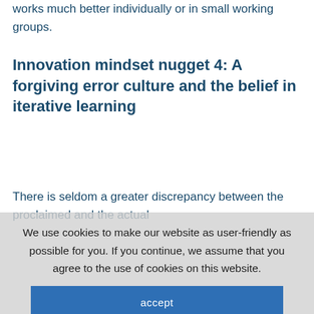works much better individually or in small working groups.
Innovation mindset nugget 4: A forgiving error culture and the belief in iterative learning
There is seldom a greater discrepancy between the proclaimed and the actual
We use cookies to make our website as user-friendly as possible for you. If you continue, we assume that you agree to the use of cookies on this website.
accept
data protection